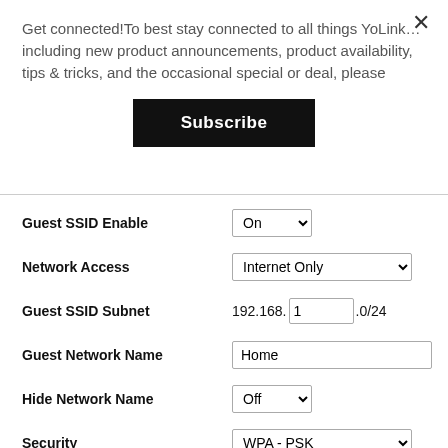Get connected!To best stay connected to all things YoLink… including new product announcements, product availability, tips & tricks, and the occasional special or deal, please
Subscribe
| Field | Value |
| --- | --- |
| Guest SSID Enable | On |
| Network Access | Internet Only |
| Guest SSID Subnet | 192.168. 1 .0/24 |
| Guest Network Name | Home |
| Hide Network Name | Off |
| Security | WPA - PSK |
| WPA Version | WPA-2 |
| Password | 123 |